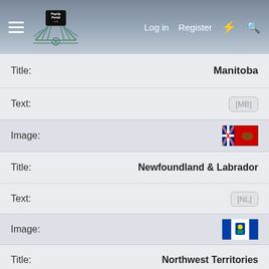[Figure (logo): PopUpPortal.com website header with hamburger menu, logo, Log in, Register, lightning bolt icon, and search icon]
Title:	Manitoba
Text:	[MB]
Image:	[flag image - Manitoba]
Title:	Newfoundland & Labrador
Text:	[NL]
Image:	[flag image - Northwest Territories]
Title:	Northwest Territories
Text:	[NT]